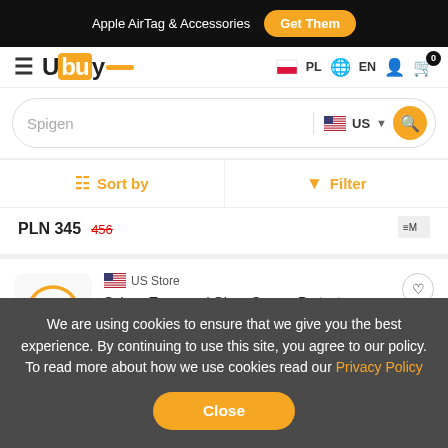Apple AirTag & Accessories  Get Them
[Figure (logo): Ubuy logo with orange square and underline]
PL  EN  (user icon)  (cart icon) 0
Spigen  US  (search button)
Sort by  Filter
PLN 345  450
US Store
Spigen Tempered Glass Screen Protector [GlasTR EZ FIT] designed for iPhone 12 (2020) /
We are using cookies to ensure that we give you the best experience. By continuing to use this site, you agree to our policy. To read more about how we use cookies read our Privacy Policy
Close